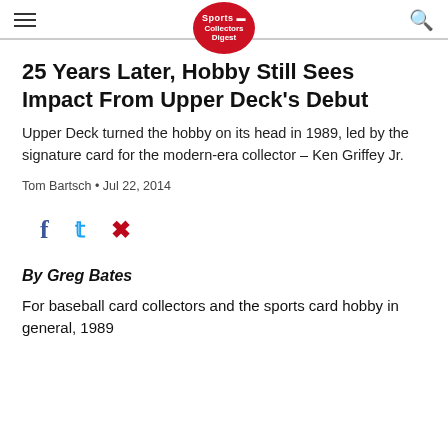Sports Collectors Digest
25 Years Later, Hobby Still Sees Impact From Upper Deck's Debut
Upper Deck turned the hobby on its head in 1989, led by the signature card for the modern-era collector – Ken Griffey Jr.
Tom Bartsch • Jul 22, 2014
[Figure (other): Social sharing icons: Facebook, Twitter, Pinterest]
By Greg Bates
For baseball card collectors and the sports card hobby in general, 1989 was a special year.